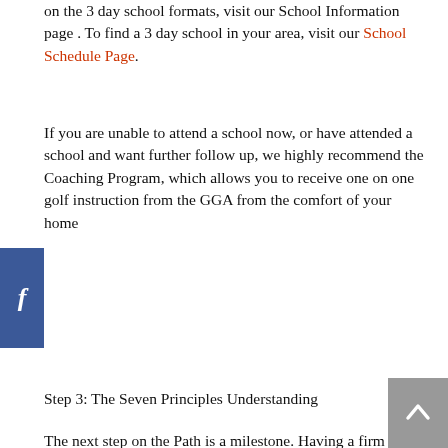on the 3 day school formats, visit our School Information page . To find a 3 day school in your area, visit our School Schedule Page.
If you are unable to attend a school now, or have attended a school and want further follow up, we highly recommend the Coaching Program, which allows you to receive one on one golf instruction from the GGA from the comfort of your home
Step 3: The Seven Principles Understanding
The next step on the Path is a milestone. Having a firm understanding of the potential you possess, you are now ready for the ‘Seven Principles of Golf Improvement; anatomy of a scratch golfer’ six volume instructional video series.
This series details every aspect of the total game, allowing you to measure your golf skills against those of a scratch golfer. This instructional series breaks down the entire golf game from the left hand grip in the full golf swing to how to think your way around the golf course in easy to learn and master parts